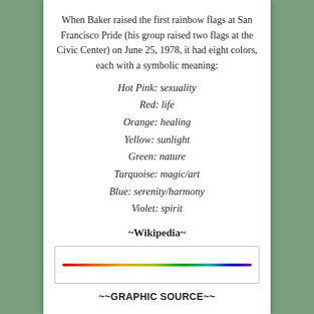When Baker raised the first rainbow flags at San Francisco Pride (his group raised two flags at the Civic Center) on June 25, 1978, it had eight colors, each with a symbolic meaning:
Hot Pink: sexuality
Red: life
Orange: healing
Yellow: sunlight
Green: nature
Turquoise: magic/art
Blue: serenity/harmony
Violet: spirit
~Wikipedia~
[Figure (illustration): Rainbow gradient bar in a bordered box]
~~GRAPHIC SOURCE~~